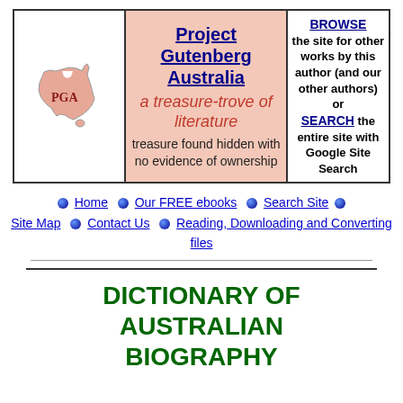[Figure (other): Project Gutenberg Australia banner with three columns: PGA logo with Australia map on left, title and tagline in center on pink background, Browse/Search links on right]
Home • Our FREE ebooks • Search Site • Site Map • Contact Us • Reading, Downloading and Converting files
DICTIONARY OF AUSTRALIAN BIOGRAPHY